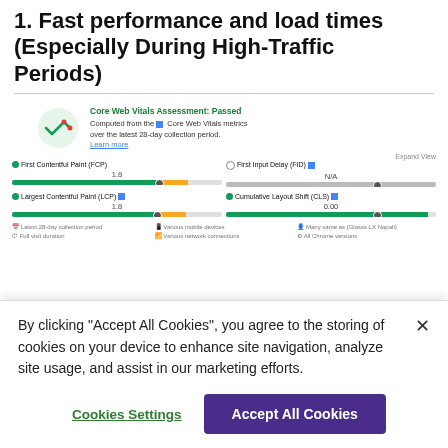1. Fast performance and load times (Especially During High-Traffic Periods)
[Figure (screenshot): Core Web Vitals Assessment dashboard screenshot showing Passed status, with metrics for First Contentful Paint (FCP) 1.8, Largest Contentful Paint (LCP) 1.8, First Input Delay (FID) N/A, and Cumulative Layout Shift (CLS) 0.00. Green and orange progress bars shown for each metric.]
By clicking “Accept All Cookies”, you agree to the storing of cookies on your device to enhance site navigation, analyze site usage, and assist in our marketing efforts.
Cookies Settings
Accept All Cookies